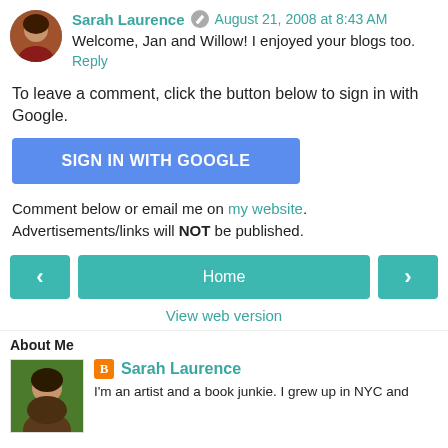Sarah Laurence  August 21, 2008 at 8:43 AM
Welcome, Jan and Willow! I enjoyed your blogs too.
Reply
To leave a comment, click the button below to sign in with Google.
SIGN IN WITH GOOGLE
Comment below or email me on my website. Advertisements/links will NOT be published.
[Figure (other): Navigation bar with left arrow, Home button, and right arrow]
View web version
About Me
Sarah Laurence
I'm an artist and a book junkie. I grew up in NYC and